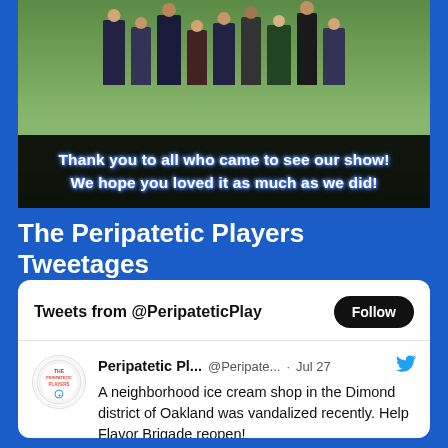[Figure (photo): Group of people standing on grass, partial view of lower bodies with a black overlay banner at the bottom reading: Thank you to all who came to see our show! We hope you loved it as much as we did!]
The Peripatetic Players Tweetages
Tweets from @PeripateticPlay
Peripatetic Pl... @Peripate... · Jul 27
A neighborhood ice cream shop in the Dimond district of Oakland was vandalized recently. Help Flavor Brigade reopen!
gofund.me/a0e71756